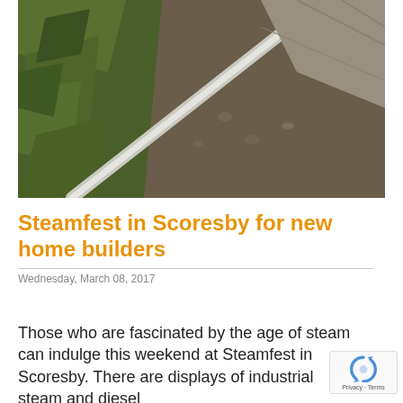[Figure (photo): Overhead view of railway tracks with gravel, grass and greenery on the left side, and stone/concrete surfaces on the right. A silver/white rail runs diagonally from lower-left to upper-right.]
Steamfest in Scoresby for new home builders
Wednesday, March 08, 2017
Those who are fascinated by the age of steam can indulge this weekend at Steamfest in Scoresby. There are displays of industrial steam and diesel